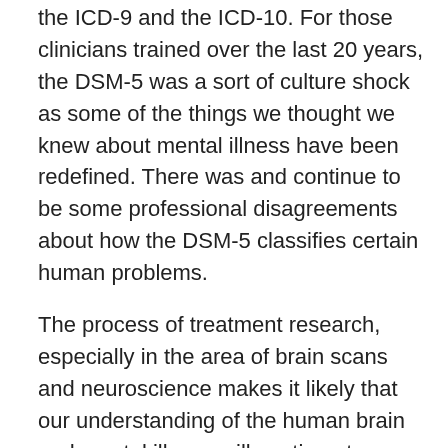the ICD-9 and the ICD-10. For those clinicians trained over the last 20 years, the DSM-5 was a sort of culture shock as some of the things we thought we knew about mental illness have been redefined. There was and continue to be some professional disagreements about how the DSM-5 classifies certain human problems.
The process of treatment research, especially in the area of brain scans and neuroscience makes it likely that our understanding of the human brain and mental illness will continue to change.
FYI These “What is” sometimes “What are” posts are my efforts to explain terms commonly used in Mental Health, Clinical Counseling, Substance Use Disorder Counseling, Psychology, Life Coaching, and related disciplines in a plain language way. Many are based on the new DSM-5;